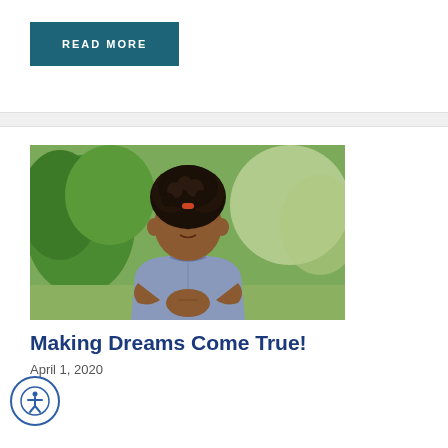READ MORE
[Figure (photo): Young Black child with curly hair in a ponytail, wearing a denim shirt, standing outdoors in a green garden, eyes closed, hands clasped together]
Making Dreams Come True!
April 1, 2020